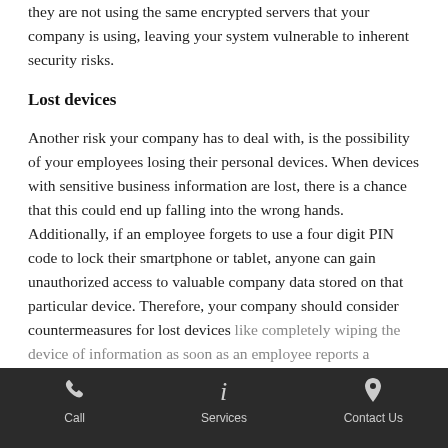they are not using the same encrypted servers that your company is using, leaving your system vulnerable to inherent security risks.
Lost devices
Another risk your company has to deal with, is the possibility of your employees losing their personal devices. When devices with sensitive business information are lost, there is a chance that this could end up falling into the wrong hands. Additionally, if an employee forgets to use a four digit PIN code to lock their smartphone or tablet, anyone can gain unauthorized access to valuable company data stored on that particular device. Therefore, your company should consider countermeasures for lost devices like completely wiping the device of information as soon as an employee reports a missing or stolen phone.
Call   Services   Contact Us